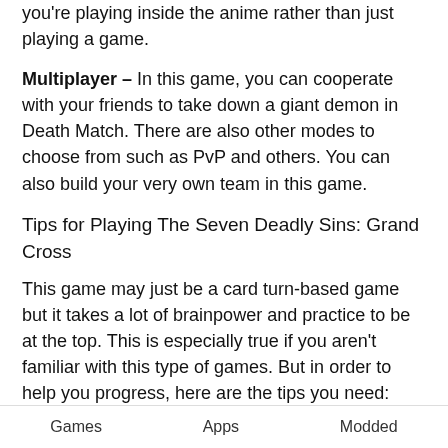you're playing inside the anime rather than just playing a game.
Multiplayer – In this game, you can cooperate with your friends to take down a giant demon in Death Match. There are also other modes to choose from such as PvP and others. You can also build your very own team in this game.
Tips for Playing The Seven Deadly Sins: Grand Cross
This game may just be a card turn-based game but it takes a lot of brainpower and practice to be at the top. This is especially true if you aren't familiar with this type of games. But in order to help you progress, here are the tips you need:
Participate in regular events – Since the game is relatively new, there are bound to be regular events
Games    Apps    Modded